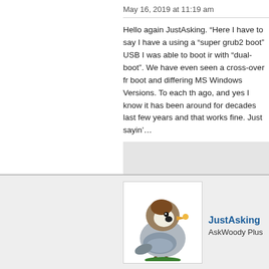May 16, 2019 at 11:19 am
Hello again JustAsking. “Here I have to say I have a using a “super grub2 boot” USB I was able to boot ir with “dual-boot”. We have even seen a cross-over fr boot and differing MS Windows Versions. To each th ago, and yes I know it has been around for decades last few years and that works fine. Just sayin’…
JustAsking
AskWoody Plus
May 16, 2019 at 11:38 am
Thanks. In very old times they said dual boot were ri not only dual boot but multi-boot for a long time, with with 2 Windows versions on the same computer). It h also worked. The multiboot is used because I have a